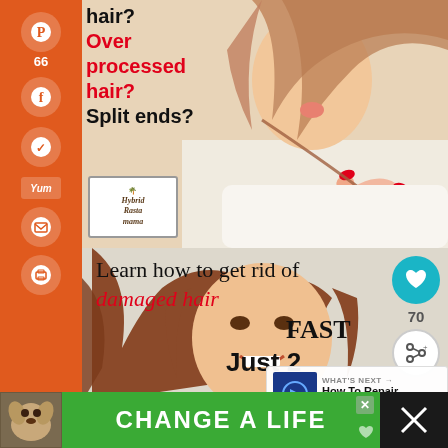[Figure (screenshot): Screenshot of a blog webpage about damaged hair remedies, featuring social sharing sidebar, two photos of women with hair, text overlays, and an ad banner at the bottom]
hair? Over processed hair? Split ends?
[Figure (logo): Hybrid Rasta Mama blog logo]
Learn how to get rid of damaged hair FAST
Just 2
WHAT'S NEXT → How To Repair Cellular...
66 SHARES
CHANGE A LIFE